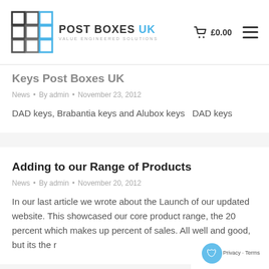Post Boxes UK – Value Engineered Solutions | £0.00
Keys Post Boxes UK
News • By admin • November 23, 2012
DAD keys, Brabantia keys and Alubox keys   DAD keys
Adding to our Range of Products
News • By admin • November 20, 2012
In our last article we wrote about the Launch of our updated website. This showcased our core product range, the 20 percent which makes up percent of sales. All well and good, but its the r